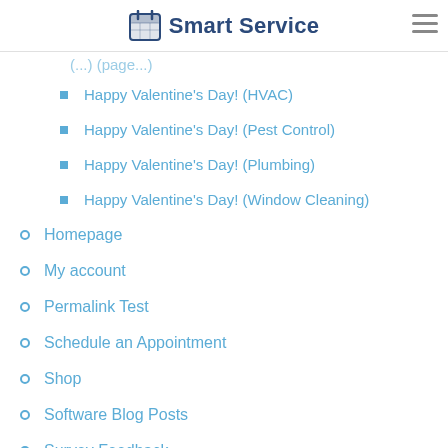Smart Service
Happy Valentine's Day! (HVAC)
Happy Valentine's Day! (Pest Control)
Happy Valentine's Day! (Plumbing)
Happy Valentine's Day! (Window Cleaning)
Homepage
My account
Permalink Test
Schedule an Appointment
Shop
Software Blog Posts
Survey Feedback
TemplateTestPage